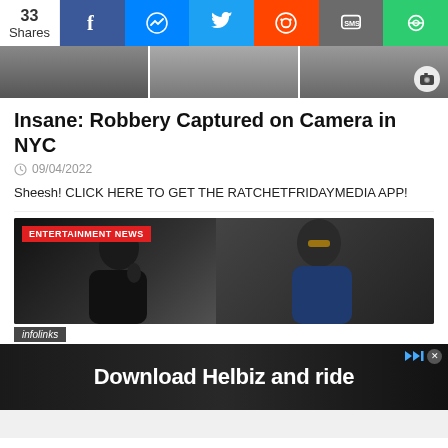33 Shares — Social share bar with Facebook, Messenger, Twitter, Reddit, SMS, Copy
[Figure (photo): Three-panel horizontal photo strip showing feet/legs walking on a sidewalk (grayscale/dark tones), with a camera icon overlay on the right panel]
Insane: Robbery Captured on Camera in NYC
09/04/2022
Sheesh! CLICK HERE TO GET THE RATCHETFRIDAYMEDIA APP!
[Figure (photo): Entertainment news card showing two performers on stage — one Black man in dark clothing singing into a microphone (left), and Snoop Dogg wearing sunglasses smiling (right). Red 'ENTERTAINMENT NEWS' label in top left.]
[Figure (photo): Advertisement banner with dark background showing an electric scooter and text 'Download Helbiz and ride' in white bold font. Infolinks branding visible. Close button (x) and play/skip icons in top right.]